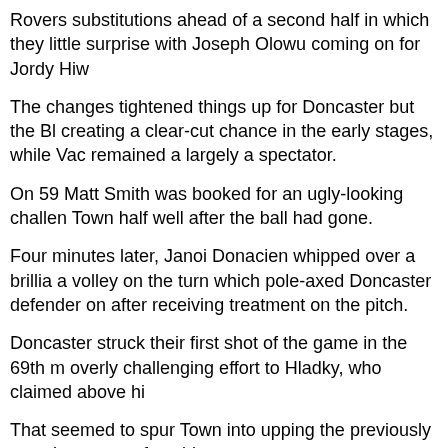Rovers substitutions ahead of a second half in which they little surprise with Joseph Olowu coming on for Jordy Hiw
The changes tightened things up for Doncaster but the Bl creating a clear-cut chance in the early stages, while Vac remained a largely a spectator.
On 59 Matt Smith was booked for an ugly-looking challen Town half well after the ball had gone.
Four minutes later, Janoi Donacien whipped over a brillia a volley on the turn which pole-axed Doncaster defender on after receiving treatment on the pitch.
Doncaster struck their first shot of the game in the 69th m overly challenging effort to Hladky, who claimed above hi
That seemed to spur Town into upping the previously son shot not too far wide.
And in the 70th minute the Blues went three in front. Celi Fraser in the number 10 role, crossed and Evans nodded Dobl... receiving treatment on the pitch.